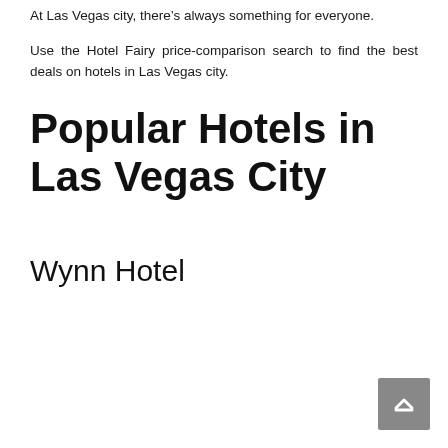At Las Vegas city, there’s always something for everyone.
Use the Hotel Fairy price-comparison search to find the best deals on hotels in Las Vegas city.
Popular Hotels in Las Vegas City
Wynn Hotel